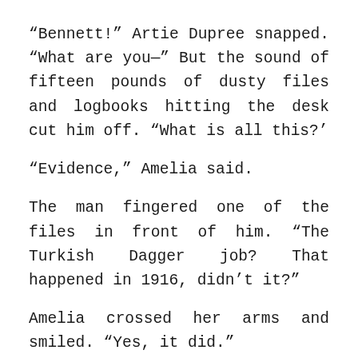“Bennett!” Artie Dupree snapped. “What are you—” But the sound of fifteen pounds of dusty files and logbooks hitting the desk cut him off. “What is all this?’
“Evidence,” Amelia said.
The man fingered one of the files in front of him. “The Turkish Dagger job? That happened in 1916, didn’t it?”
Amelia crossed her arms and smiled. “Yes, it did.”